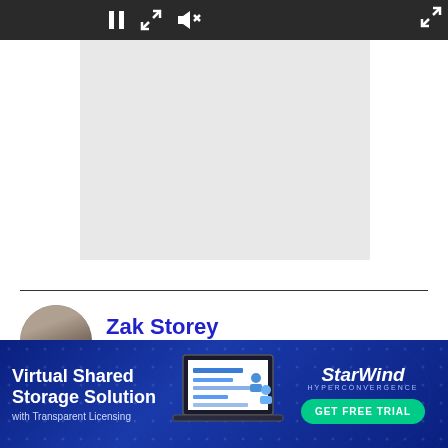[Figure (screenshot): Video player control bar with pause button, expand arrows, and mute icon on dark background]
[Figure (photo): Light gray video placeholder rectangle]
Zak Storey
[Figure (other): Advertisement banner for StarWind Virtual Shared Storage Solution with Transparent Licensing and GET FREE TRIAL button]